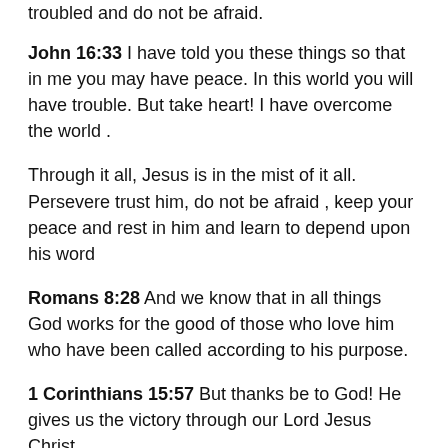troubled and do not be afraid.
John 16:33 I have told you these things so that in me you may have peace. In this world you will have trouble. But take heart! I have overcome the world .
Through it all, Jesus is in the mist of it all. Persevere trust him, do not be afraid , keep your peace and rest in him and learn to depend upon his word
Romans 8:28 And we know that in all things God works for the good of those who love him who have been called according to his purpose.
1 Corinthians 15:57 But thanks be to God! He gives us the victory through our Lord Jesus Christ
Through it all, Lord forgive me for the times I have failed. I